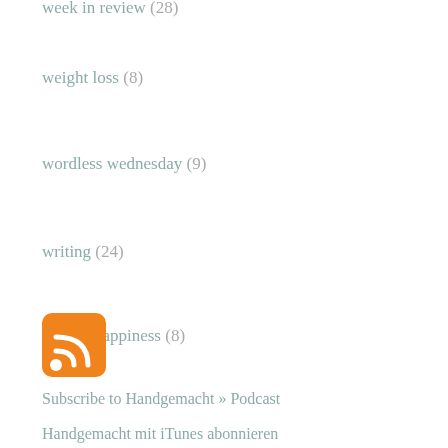week in review (28)
weight loss (8)
wordless wednesday (9)
writing (24)
year of happiness (8)
[Figure (logo): RSS feed icon — orange rounded square with white WiFi-style signal arcs]
Subscribe to Handgemacht » Podcast
Handgemacht mit iTunes abonnieren